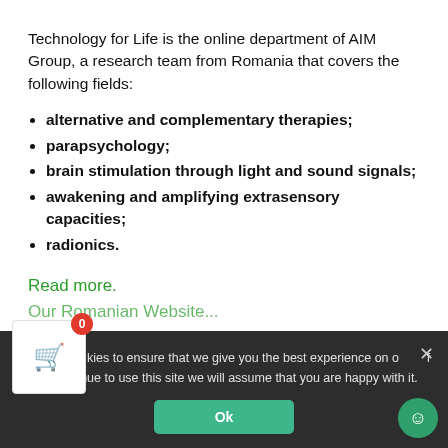Technology for Life is the online department of AIM Group, a research team from Romania that covers the following fields:
alternative and complementary therapies;
parapsychology;
brain stimulation through light and sound signals;
awakening and amplifying extrasensory capacities;
radionics.
Read more.
We use cookies to ensure that we give you the best experience on our website. If you continue to use this site we will assume that you are happy with it.